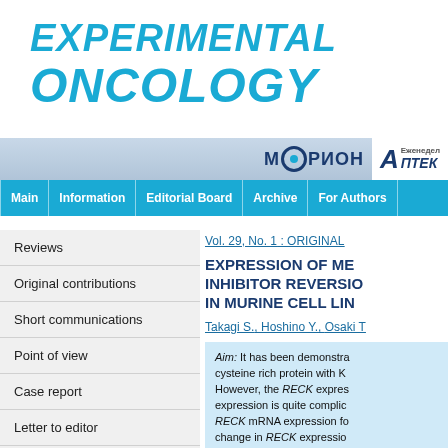EXPERIMENTAL ONCOLOGY
М○РИО Н  А ПТЕКА
Main | Information | Editorial Board | Archive | For Authors
Reviews
Original contributions
Short communications
Point of view
Case report
Letter to editor
Editorial
Methods and techniques
Vol. 29, No. 1 :  ORIGINAL
EXPRESSION OF ME... INHIBITOR REVERSIO... IN MURINE CELL LIN...
Takagi S., Hoshino Y., Osaki T...
Aim: It has been demonstra... cysteine rich protein with K... However, the RECK expres... expression is quite complic... RECK mRNA expression fo... change in RECK expressio...